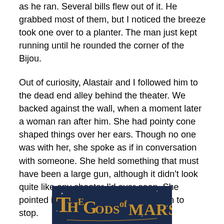as he ran. Several bills flew out of it. He grabbed most of them, but I noticed the breeze took one over to a planter. The man just kept running until he rounded the corner of the Bijou.
Out of curiosity, Alastair and I followed him to the dead end alley behind the theater. We backed against the wall, when a moment later a woman ran after him. She had pointy cone shaped things over her ears. Though no one was with her, she spoke as if in conversation with someone. She held something that must have been a large gun, although it didn't look quite like any shooter I'd ever seen. She pointed it at the man and yelled for him to stop.
[Figure (photo): Book cover image showing 'The Gods of Mars' text in stylized golden lettering on a dark blue background.]